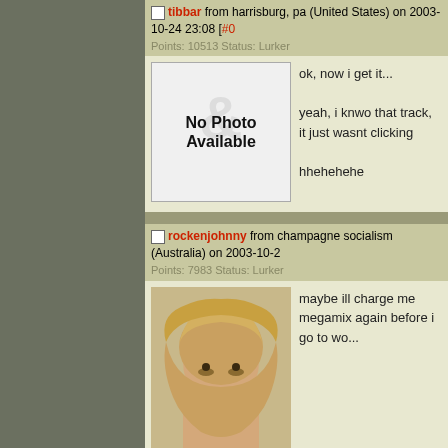tibbar from harrisburg, pa (United States) on 2003-10-24 23:08 [#0...]
Points: 10513 Status: Lurker
[Figure (photo): No Photo Available placeholder image]
ok, now i get it...
yeah, i knwo that track, it just wasnt clicking
hhehehehe
rockenjohnny from champagne socialism (Australia) on 2003-10-2...
Points: 7983 Status: Lurker
[Figure (photo): Profile photo of rockenjohnny - blonde person smiling]
maybe ill charge me megamix again before i go to wo...
EpicMegatrax from Greatest Hits on 2021-07-19 07:23 [#02609999...]
Points: 19038 Status: Regular
[Figure (screenshot): Pixelated video game screenshot with teal diamonds on purple background with green elements]
bog slapper (epicmegamix)